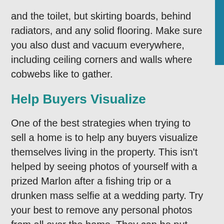and the toilet, but skirting boards, behind radiators, and any solid flooring. Make sure you also dust and vacuum everywhere, including ceiling corners and walls where cobwebs like to gather.
Help Buyers Visualize
One of the best strategies when trying to sell a home is to help any buyers visualize themselves living in the property. This isn't helped by seeing photos of yourself with a prized Marlon after a fishing trip or a drunken mass selfie at a wedding party. Try your best to remove any personal photos from all over the home. They can be put back up later on.
Personal items also extend to electronic items, drawings that are stuck to the refrigerator, and even bathroom items like razors and toothbrushes. When